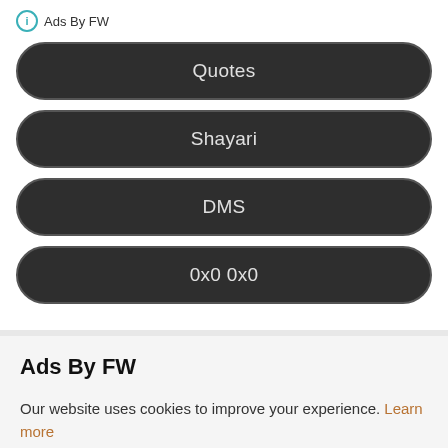ⓘ Ads By FW
Quotes
Shayari
DMS
0x0 0x0
Ads By FW
Our website uses cookies to improve your experience. Learn more
Accept !